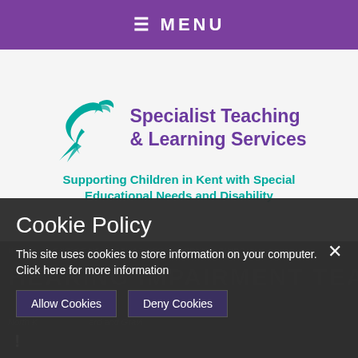≡ MENU
[Figure (logo): Teal swallow/bird logo for Specialist Teaching & Learning Services]
Specialist Teaching & Learning Services
Supporting Children in Kent with Special Educational Needs and Disability
HOME  CONTACT US  STL ADVISORY SERVICE GUIDE
HEARING IMPAIRMENT TEA
Cookie Policy
This site uses cookies to store information on your computer. Click here for more information
Allow Cookies   Deny Cookies